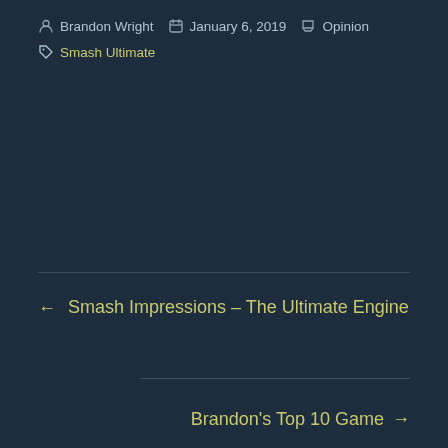Brandon Wright  January 6, 2019  Opinion
Smash Ultimate
← Smash Impressions – The Ultimate Engine
Brandon's Top 10 Game →